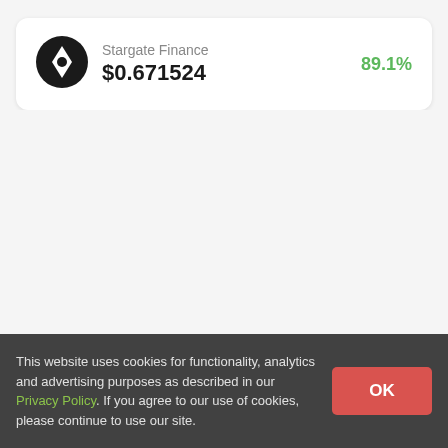[Figure (logo): Stargate Finance token logo — black circle with a diamond/compass shape inside]
Stargate Finance $0.671524 89.1%
This website uses cookies for functionality, analytics and advertising purposes as described in our Privacy Policy. If you agree to our use of cookies, please continue to use our site.